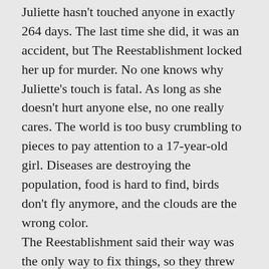Juliette hasn't touched anyone in exactly 264 days. The last time she did, it was an accident, but The Reestablishment locked her up for murder. No one knows why Juliette's touch is fatal. As long as she doesn't hurt anyone else, no one really cares. The world is too busy crumbling to pieces to pay attention to a 17-year-old girl. Diseases are destroying the population, food is hard to find, birds don't fly anymore, and the clouds are the wrong color. The Reestablishment said their way was the only way to fix things, so they threw Juliette in a cell. Now so many people are dead that the survivors are whispering war – and The Reestablishment has changed its mind. Maybe Juliette is more than a tortured soul stuffed into a poisonous body. Maybe she's exactly what they need right now. Juliette has to make a choice: Be a weapon. Or be a